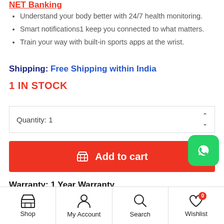NET Banking
Understand your body better with 24/7 health monitoring.
Smart notifications1 keep you connected to what matters.
Train your way with built-in sports apps at the wrist.
Shipping: Free Shipping within India
1 IN STOCK
Quantity: 1
Add to cart
Warranty: 1 Year Warranty
Shop | My Account | Search | Wishlist